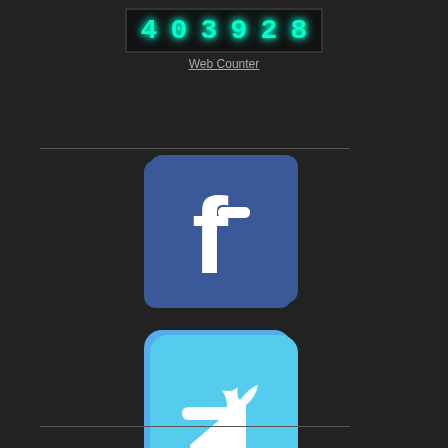[Figure (screenshot): Web counter display showing the number 403928 in glowing cyan/teal digital font on a dark background, with 'Web Counter' text and underline below]
[Figure (logo): Facebook logo icon: dark blue rounded square with white lowercase 'f' letterform]
[Figure (logo): Twitter logo icon: light blue rounded square with white stylized bird/letter 't' logo]
[Figure (logo): YouTube logo icon: white rounded square with 'You' text in black and 'Tube' text in white on a red rectangle below]